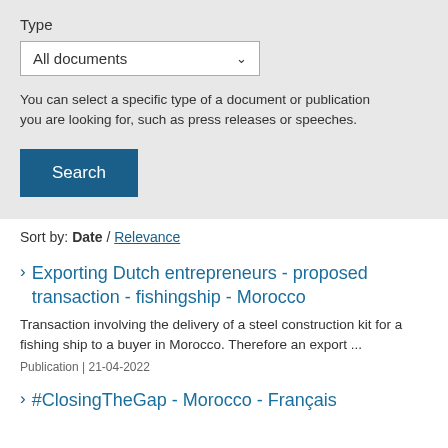Type
All documents
You can select a specific type of a document or publication you are looking for, such as press releases or speeches.
Search
Sort by: Date / Relevance
Exporting Dutch entrepreneurs - proposed transaction - fishingship - Morocco
Transaction involving the delivery of a steel construction kit for a fishing ship to a buyer in Morocco. Therefore an export ...
Publication | 21-04-2022
#ClosingTheGap - Morocco - Français